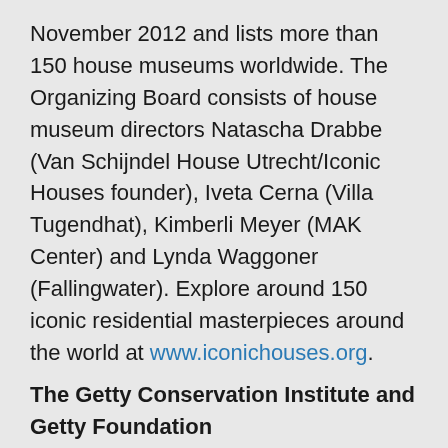November 2012 and lists more than 150 house museums worldwide. The Organizing Board consists of house museum directors Natascha Drabbe (Van Schijndel House Utrecht/Iconic Houses founder), Iveta Cerna (Villa Tugendhat), Kimberli Meyer (MAK Center) and Lynda Waggoner (Fallingwater). Explore around 150 iconic residential masterpieces around the world at www.iconichouses.org.
The Getty Conservation Institute and Getty Foundation
The Getty has a longstanding interest in modern architecture, as currently manifested through the Getty Conservation Institute's Conserving Modern Architecture Initiative (CMAI) which seeks to advance conservation practice, its companion program, the Getty Foundation's Keeping It Modern grant initiative for 20th century buildings around the world, and the